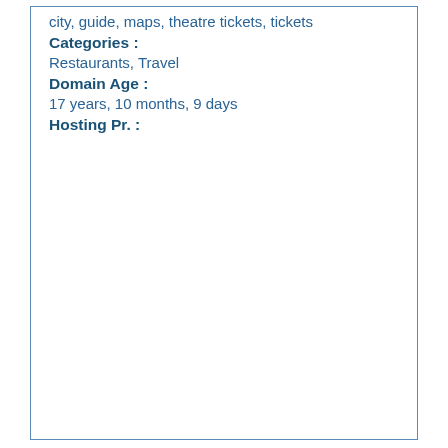city, guide, maps, theatre tickets, tickets
Categories :
Restaurants, Travel
Domain Age :
17 years, 10 months, 9 days
Hosting Pr. :